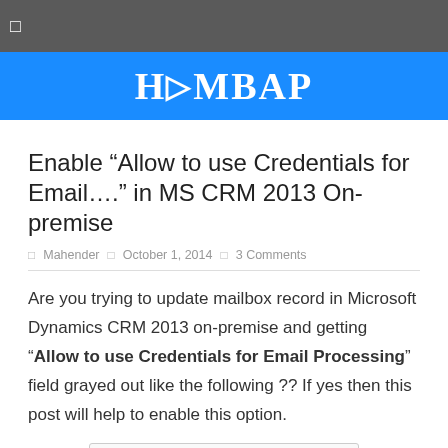HMBAP
Enable “Allow to use Credentials for Email….” in MS CRM 2013 On-premise
Mahender  October 1, 2014  3 Comments
Are you trying to update mailbox record in Microsoft Dynamics CRM 2013 on-premise and getting “Allow to use Credentials for Email Processing” field grayed out like the following ?? If yes then this post will help to enable this option.
[Figure (screenshot): Screenshot of Credentials section showing 'Allow to Use Credentials for Email' field]